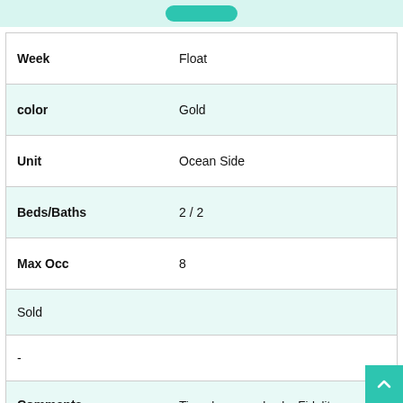| Field | Value |
| --- | --- |
| Week | Float |
| color | Gold |
| Unit | Ocean Side |
| Beds/Baths | 2 / 2 |
| Max Occ | 8 |
| Sold |  |
| - |  |
| Comments | Timeshare resales by Fidelity Real Estate, licensed real estate broker. 2 bedroom / 2 |